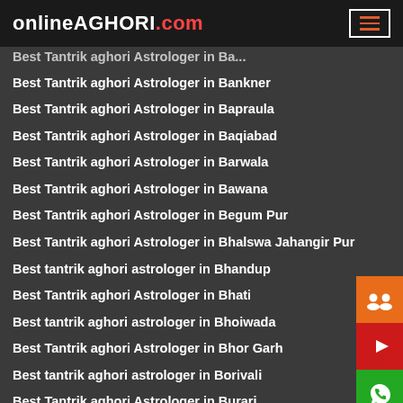onlineAGHORI.com
Best Tantrik aghori Astrologer in Bankner
Best Tantrik aghori Astrologer in Bapraula
Best Tantrik aghori Astrologer in Baqiabad
Best Tantrik aghori Astrologer in Barwala
Best Tantrik aghori Astrologer in Bawana
Best Tantrik aghori Astrologer in Begum Pur
Best Tantrik aghori Astrologer in Bhalswa Jahangir Pur
Best tantrik aghori astrologer in Bhandup
Best Tantrik aghori Astrologer in Bhati
Best tantrik aghori astrologer in Bhoiwada
Best Tantrik aghori Astrologer in Bhor Garh
Best tantrik aghori astrologer in Borivali
Best Tantrik aghori Astrologer in Burari
Best tantrik aghori astrologer in Byculla
Best Tantrik aghori Astrologer in Chandan Hola
Best tantrik aghori astrologer in Charkop (Kandivali)